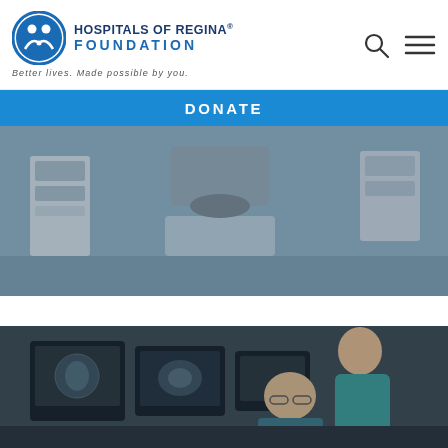Hospitals of Regina Foundation — Better lives. Made possible by you.
DONATE
[Figure (photo): Operating room interior showing surgical equipment, anesthesia machines, and surgical lights in a sterile environment]
SURGICAL CARE
[Figure (photo): Two medical professionals in scrubs reviewing medical imaging scans on multiple monitors in a darkened radiology suite]
MEDICAL IMAGING